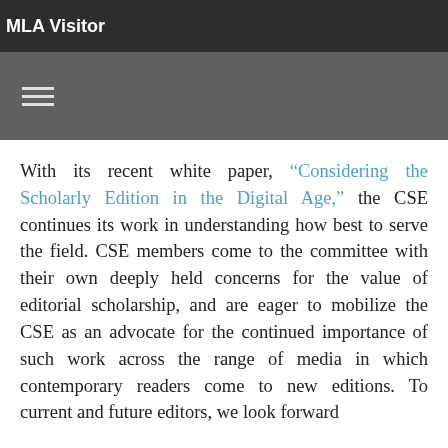MLA Visitor
With its recent white paper, “Considering the Scholarly Edition in the Digital Age,” the CSE continues its work in understanding how best to serve the field. CSE members come to the committee with their own deeply held concerns for the value of editorial scholarship, and are eager to mobilize the CSE as an advocate for the continued importance of such work across the range of media in which contemporary readers come to new editions. To current and future editors, we look forward